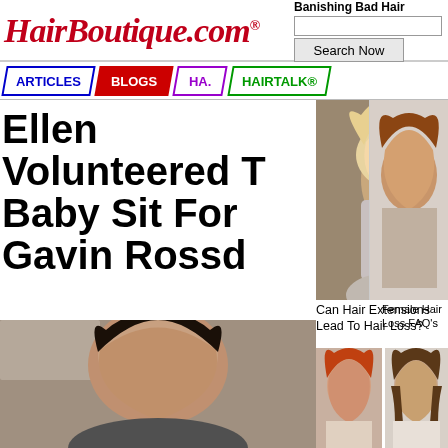[Figure (logo): HairBoutique.com logo in red italic script with registered trademark symbol]
Banishing Bad Hair
[Figure (screenshot): Search input box and Search Now button]
[Figure (infographic): Navigation bar with ARTICLES (blue), BLOGS (red), HA... (purple), HAIRTALK® (green) menu items]
Ellen Volunteered To Baby Sit For Gavin Rossd
[Figure (photo): Photo of a blonde woman with long hair in glamorous pose]
[Figure (photo): Photo of a woman with auburn/brown hair touching her head]
[Figure (photo): Photo of a man with dark hair at a celebrity event]
Can Hair Extensions Lead To Hair Loss?
Female Hair Loss FAQ's
[Figure (photo): Photo of a woman with red/auburn braided hair]
[Figure (photo): Photo of a woman with straight brown hair with bangs]